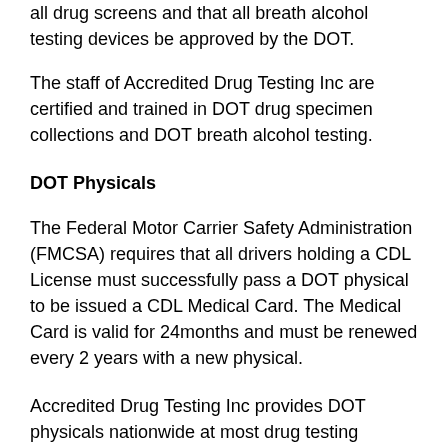all drug screens and that all breath alcohol testing devices be approved by the DOT.
The staff of Accredited Drug Testing Inc are certified and trained in DOT drug specimen collections and DOT breath alcohol testing.
DOT Physicals
The Federal Motor Carrier Safety Administration (FMCSA) requires that all drivers holding a CDL License must successfully pass a DOT physical to be issued a CDL Medical Card. The Medical Card is valid for 24months and must be renewed every 2 years with a new physical.
Accredited Drug Testing Inc provides DOT physicals nationwide at most drug testing centers and our affiliated medical facilities. All DOT Physicals are administered by an examiner trained and certified by the FMCSA.